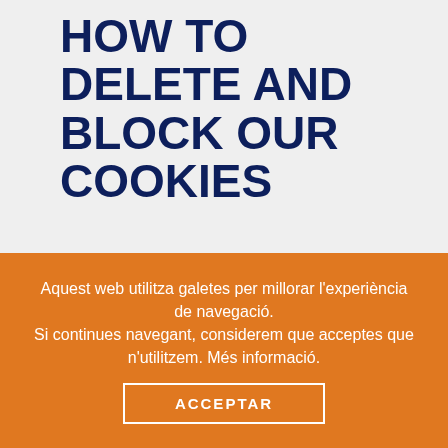HOW TO DELETE AND BLOCK OUR COOKIES
You block cookies by activating the setting on your browser that allows you to refuse the setting of all or some cookies. However, if you use your browser settings to block all cookies (including essential cookies) you may not be able to access all or parts of our site. Unless
Aquest web utilitza galetes per millorar l'experiència de navegació.
Si continues navegant, considerem que acceptes que n'utilitzem. Més informació.
ACCEPTAR